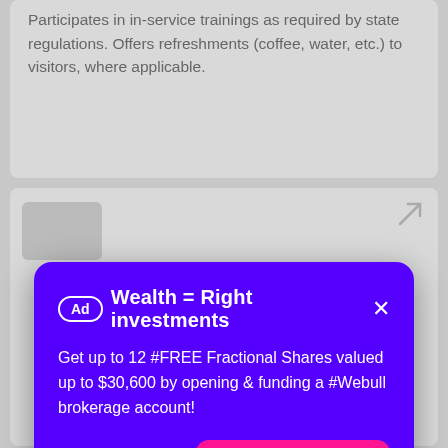Participates in in-service trainings as required by state regulations. Offers refreshments (coffee, water, etc.) to visitors, where applicable.
[Figure (screenshot): Partial card with icon and arrow, background content behind overlay]
[Figure (infographic): Advertisement overlay card with purple background. Header: 'Ad Wealth = Right investments' with X close button. Body text: 'Get up to 12 #FREE Fractional Shares valued up to $30,600 by opening & funding a #Webull brokerage account!' with pink 'LEARN MORE' button.]
state regulations. Offers refreshments (coffee, water, etc.) to visitors, where applicable.
[Figure (screenshot): Bottom card with fire icon and arrow icon visible]